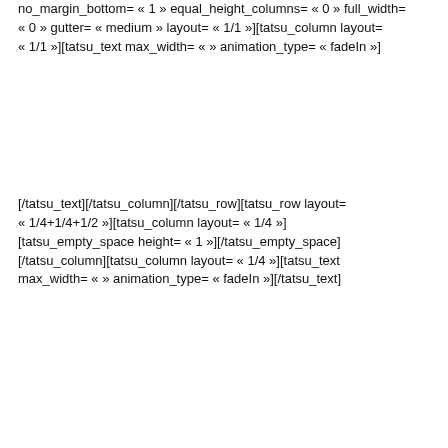no_margin_bottom= « 1 » equal_height_columns= « 0 » full_width= « 0 » gutter= « medium » layout= « 1/1 »][tatsu_column layout= « 1/1 »][tatsu_text max_width= «  » animation_type= « fadeIn »]
[/tatsu_text][/tatsu_column][/tatsu_row][tatsu_row layout= « 1/4+1/4+1/2 »][tatsu_column layout= « 1/4 »][tatsu_empty_space height= « 1 »][/tatsu_empty_space][/tatsu_column][tatsu_column layout= « 1/4 »][tatsu_text max_width= «  » animation_type= « fadeIn »][/tatsu_text]